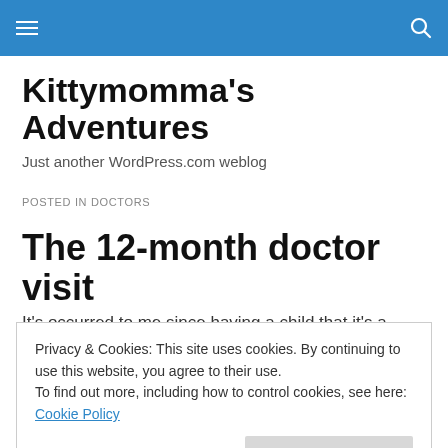Kittymomma's Adventures navigation bar
Kittymomma's Adventures
Just another WordPress.com weblog
POSTED IN DOCTORS
The 12-month doctor visit
It's occurred to me since having a child that it's a good
Privacy & Cookies: This site uses cookies. By continuing to use this website, you agree to their use. To find out more, including how to control cookies, see here: Cookie Policy
and I was startled by the exponential increase in difficulty